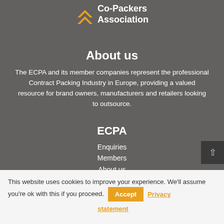[Figure (logo): ECPA Co-Packers Association logo with orange arrow/chevron icons and white text]
About us
The ECPA and its member companies represent the professional Contract Packing Industry in Europe, providing a valued resource for brand owners, manufacturers and retailers looking to outsource.
ECPA
Enquiries
Members
About us
This website uses cookies to improve your experience. We'll assume you're ok with this if you proceed. Accept Privacy statement